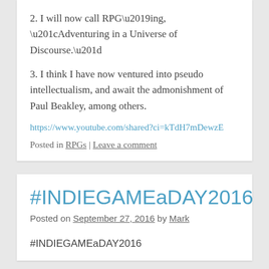2. I will now call RPG’ing, “Adventuring in a Universe of Discourse.”
3. I think I have now ventured into pseudo intellectualism, and await the admonishment of Paul Beakley, among others.
https://www.youtube.com/shared?ci=kTdH7mDewzE
Posted in RPGs | Leave a comment
#INDIEGAMEaDAY2016
Posted on September 27, 2016 by Mark
#INDIEGAMEaDAY2016